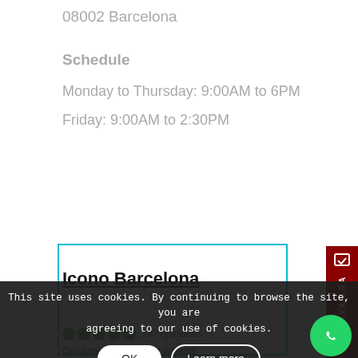08002 Barcelona
Schedule
Monday to Thursday: 9:00AM to 6PM
Friday: 9:00AM to 2:30PM
[Figure (screenshot): Teal-bordered white box overlay on page content]
[Figure (other): Red vertical sidebar with RESERVA ARA label and icon]
Icono Barcelona
This site uses cookies. By continuing to browse the site, you are agreeing to our use of cookies.
247 opiniones
Opiniones recientes de viajeros
"EXCELENTE"
"Excelente, tou..."
"Educacional"
[Figure (other): Green WhatsApp circular button with phone icon]